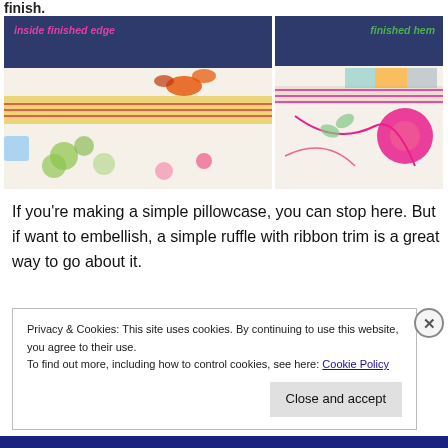finish.
[Figure (photo): Two side-by-side fabric close-up photos. Left photo labeled 'inside finished edge' in pink cursive, showing colorful floral patterned fabric with red stitching against a dark navy background. Right photo labeled 'finished hem' in green cursive, showing white floral fabric with pink flowers against a navy background.]
If you're making a simple pillowcase, you can stop here. But if want to embellish, a simple ruffle with ribbon trim is a great way to go about it.
Privacy & Cookies: This site uses cookies. By continuing to use this website, you agree to their use.
To find out more, including how to control cookies, see here: Cookie Policy
Close and accept